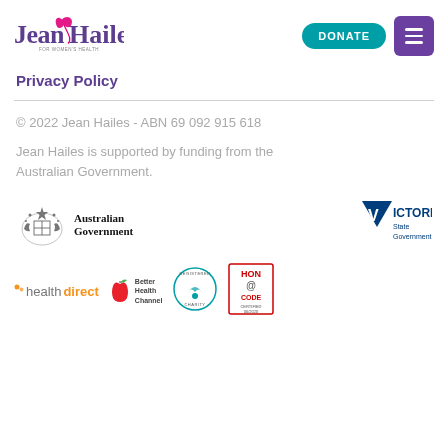Jean Hailes for Women's Health — DONATE [navigation menu]
Privacy Policy
© 2022 Jean Hailes - ABN 69 092 915 618
Jean Hailes is supported by funding from the Australian Government.
[Figure (logo): Australian Government logo with coat of arms and text 'Australian Government']
[Figure (logo): Victoria State Government logo with blue downward triangle]
[Figure (logo): healthdirect logo]
[Figure (logo): Better Health Channel logo with red apple]
[Figure (logo): Registered Charity circular logo]
[Figure (logo): HON Code Certified 06/2020 logo]